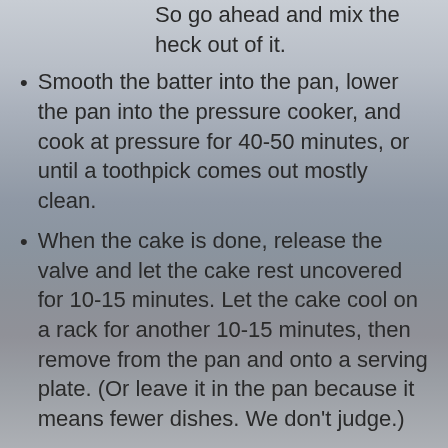So go ahead and mix the heck out of it.
Smooth the batter into the pan, lower the pan into the pressure cooker, and cook at pressure for 40-50 minutes, or until a toothpick comes out mostly clean.
When the cake is done, release the valve and let the cake rest uncovered for 10-15 minutes. Let the cake cool on a rack for another 10-15 minutes, then remove from the pan and onto a serving plate. (Or leave it in the pan because it means fewer dishes. We don’t judge.)
Notes
Topping Ideas: